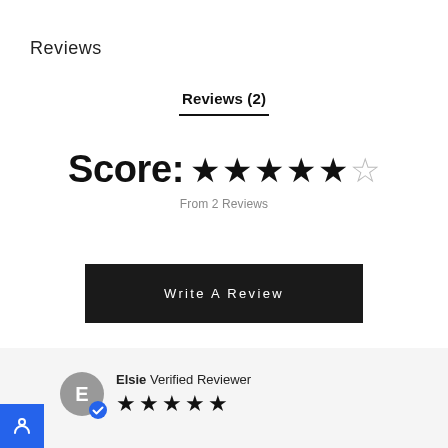Reviews
Reviews (2)
Score: ★★★★★☆
From 2 Reviews
Write A Review
Elsie  Verified Reviewer ★★★★★